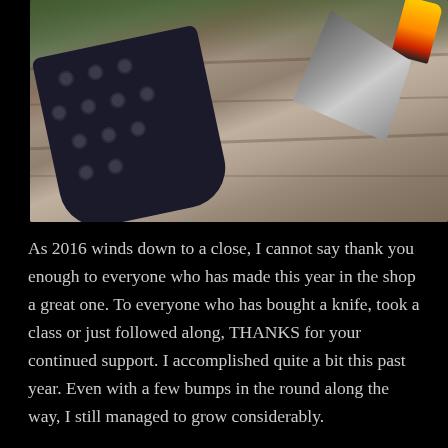[Figure (photo): A knife with a yellow, orange, and black handle alongside a black Kydex sheath with multiple holes, both resting on weathered wood.]
As 2016 winds down to a close, I cannot say thank you enough to everyone who has made this year in the shop a great one. To everyone who has bought a knife, took a class or just followed along, THANKS for your continued support. I accomplished quite a bit this past year. Even with a few bumps in the round along the way, I still managed to grow considerably.